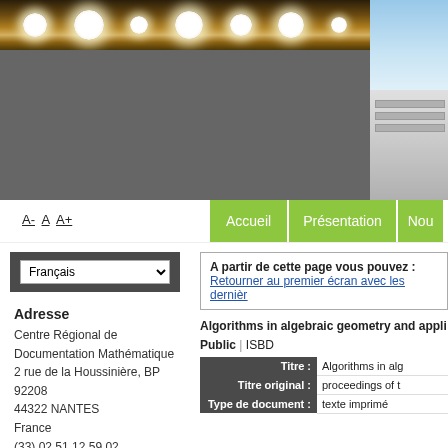[Figure (photo): Header image showing interior with hanging lamps (left) and exterior building/sky (right)]
A- A A+
Accueil | Présentation | Nou...
Français (dropdown)
Adresse
Centre Régional de Documentation Mathématique
2 rue de la Houssinière, BP 92208
44322 NANTES
France
(33) 02 51 12 59 02
A partir de cette page vous pouvez :
Retourner au premier écran avec les dernièr...
Algorithms in algebraic geometry and appli...
Public | ISBD
| Field | Value |
| --- | --- |
| Titre : | Algorithms in alg... |
| Titre original : | proceedings of t... |
| Type de document : | texte imprimé |